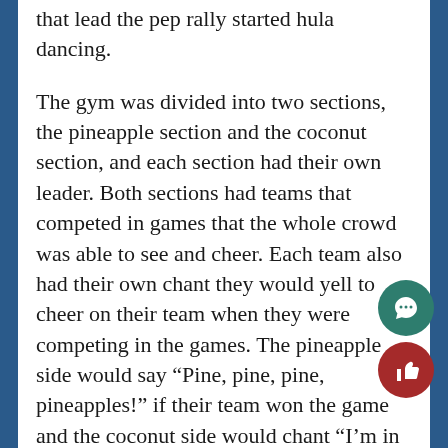playing in the background and one of the people that lead the pep rally started hula dancing.
The gym was divided into two sections, the pineapple section and the coconut section, and each section had their own leader. Both sections had teams that competed in games that the whole crowd was able to see and cheer. Each team also had their own chant they would yell to cheer on their team when they were competing in the games. The pineapple side would say “Pine, pine, pine, pineapples!” if their team won the game and the coconut side would chant “I’m in love with the coco!” if their team won the game.
After the first contest finished, the band came into the gym and started to play music which the crowd listened and enjoyed. Once the band left, another game was played where people shot